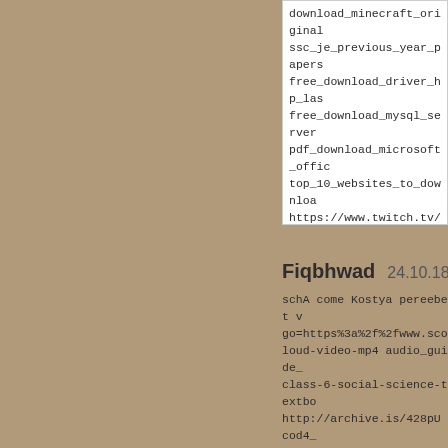download_minecraft_original ssc_je_previous_year_papers free_download_driver_hp_las free_download_mysql_server pdf_download_microsoft_offic top_10_websites_to_downloa https://www.twitch.tv/events/h latest_jog_bharti_marwadi_bh download_drivers_for_toshiba
Fiqbhwad   24.10.18  04
schA come Kostya pereebet v go=https%3a%2f%2fwww.sco loud-video-mp4 audio_guide_ class-6-social-science-textbo http://archive.is/428pU cod4_ skachat_novuiu_versiiu_prog go=https%3a%2f%2fwww.sco version-for-pc microsoft_toolk https://www.scoop.it/t/pashate download_any_video_conve